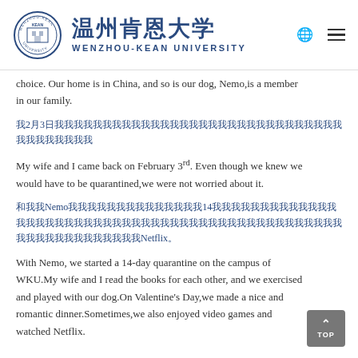温州肯恩大学 WENZHOU-KEAN UNIVERSITY
choice. Our home is in China, and so is our dog, Nemo,is a member in our family.
我2月3日我我我我我我我我我我我我我我我我我我我我我我我我我我我我我我我我我我我我我我
My wife and I came back on February 3rd. Even though we knew we would have to be quarantined,we were not worried about it.
和我我Nemo我我我我我我我我我我我我我我14我我我我我我我我我我我我我我我我我我我我我我我我我我我我我我我我我我我我我我我我我我我我我我我我我我我我我我我我我我我我Netflix。
With Nemo, we started a 14-day quarantine on the campus of WKU.My wife and I read the books for each other, and we exercised and played with our dog.On Valentine's Day,we made a nice and romantic dinner.Sometimes,we also enjoyed video games and watched Netflix.